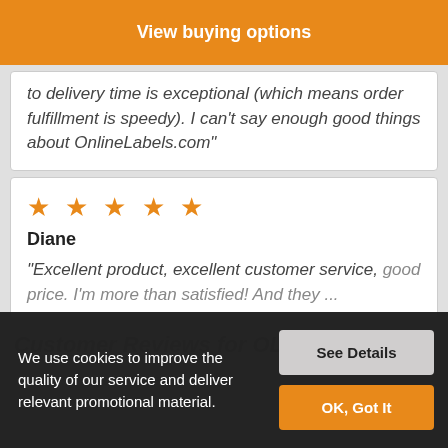View buying options
to delivery time is exceptional (which means order fulfillment is speedy). I can't say enough good things about OnlineLabels.com"
★ ★ ★ ★ ★
Diane
"Excellent product, excellent customer service, good price. I'm more than satisfied! And they ... an ad...
We use cookies to improve the quality of our service and deliver relevant promotional material.
See Details
OK, Got It
Customer Reviews for OL3011D...